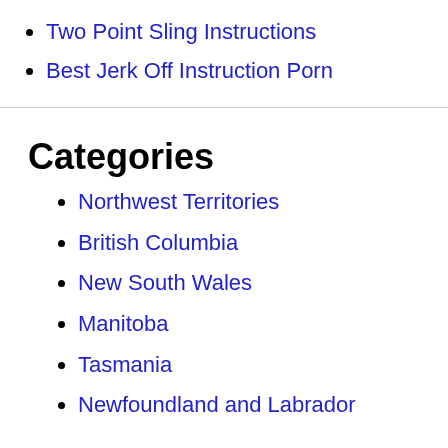Two Point Sling Instructions
Best Jerk Off Instruction Porn
Categories
Northwest Territories
British Columbia
New South Wales
Manitoba
Tasmania
Newfoundland and Labrador